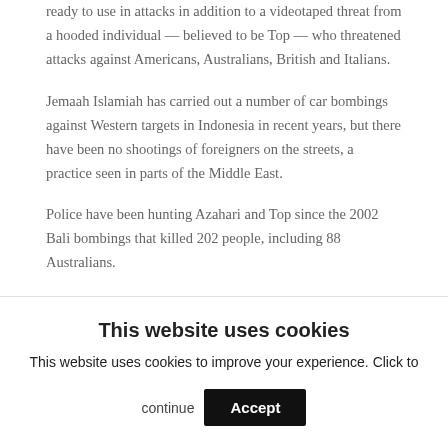ready to use in attacks in addition to a videotaped threat from a hooded individual — believed to be Top — who threatened attacks against Americans, Australians, British and Italians.
Jemaah Islamiah has carried out a number of car bombings against Western targets in Indonesia in recent years, but there have been no shootings of foreigners on the streets, a practice seen in parts of the Middle East.
Police have been hunting Azahari and Top since the 2002 Bali bombings that killed 202 people, including 88 Australians.
Both men have been blamed for playing key roles in all
This website uses cookies
This website uses cookies to improve your experience. Click to continue
Accept